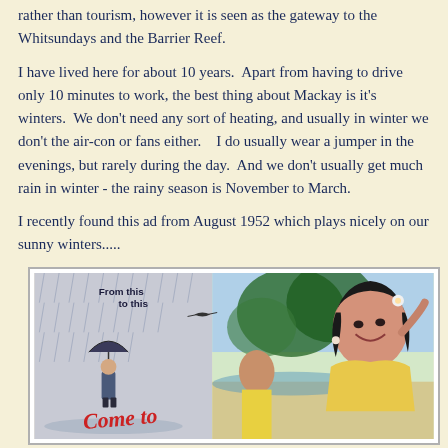rather than tourism, however it is seen as the gateway to the Whitsundays and the Barrier Reef.
I have lived here for about 10 years.  Apart from having to drive only 10 minutes to work, the best thing about Mackay is it's winters.  We don't need any sort of heating, and usually in winter we don't the air-con or fans either.   I do usually wear a jumper in the evenings, but rarely during the day.  And we don't usually get much rain in winter - the rainy season is November to March.
I recently found this ad from August 1952 which plays nicely on our sunny winters.....
[Figure (illustration): Vintage 1952 travel advertisement showing a rainy scene on the left with a person holding an umbrella, and a smiling woman in summer attire on the right, with text 'From this to this' and partially visible cursive text 'Come to' at the bottom.]